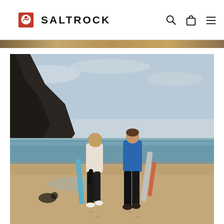SALTROCK
[Figure (photo): Two surfers, a woman in a cream sweatshirt and a man in a blue sweatshirt, walking along a sandy beach carrying surfboards, viewed from behind. Rocky cliffs and the ocean are visible in the background under an overcast sky.]